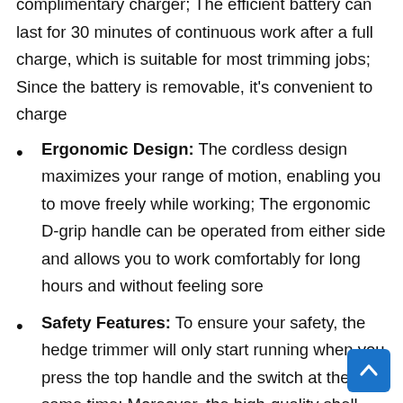complimentary charger; The efficient battery can last for 30 minutes of continuous work after a full charge, which is suitable for most trimming jobs; Since the battery is removable, it's convenient to charge
Ergonomic Design: The cordless design maximizes your range of motion, enabling you to move freely while working; The ergonomic D-grip handle can be operated from either side and allows you to work comfortably for long hours and without feeling sore
Safety Features: To ensure your safety, the hedge trimmer will only start running when you press the top handle and the switch at the same time; Moreover, the high-quality shell can protect you from accidental injuries from the sharp blades, and the hedge trimmer is easy to store safely after each use
Thoughtful Addition: This purchase includes one free portable manual trimmer, which is useful when trimming small tomatoes, squash, beans, peas, and other vegetables;